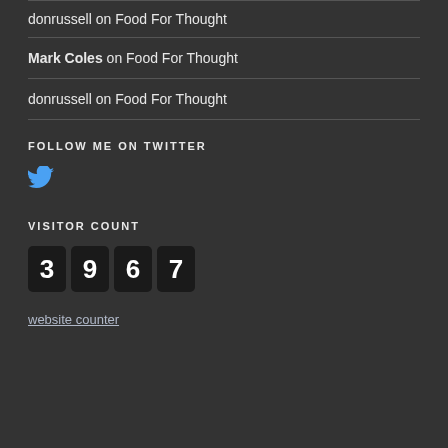donrussell on Food For Thought
Mark Coles on Food For Thought
donrussell on Food For Thought
FOLLOW ME ON TWITTER
[Figure (logo): Twitter bird icon in blue]
VISITOR COUNT
[Figure (other): Visitor counter showing digits 3967 in dark digit boxes]
website counter